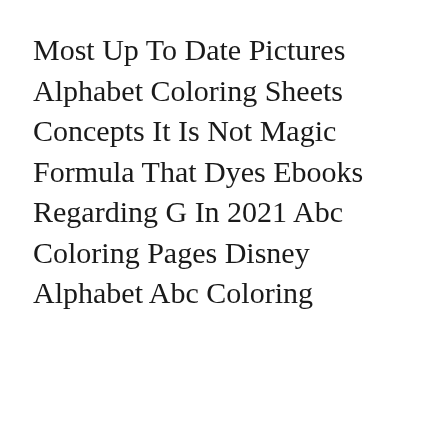Most Up To Date Pictures Alphabet Coloring Sheets Concepts It Is Not Magic Formula That Dyes Ebooks Regarding G In 2021 Abc Coloring Pages Disney Alphabet Abc Coloring